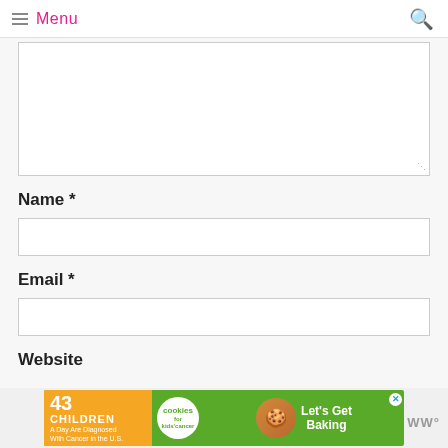Menu
[Figure (screenshot): Comment form text area (empty), followed by Name field with label and asterisk, Email field with label and asterisk, Website label, and an advertisement banner at the bottom for '43 Children A Day Are Diagnosed With Cancer in the U.S.' from cookies for kids' cancer with 'Let's Get Baking' text.]
Name *
Email *
Website